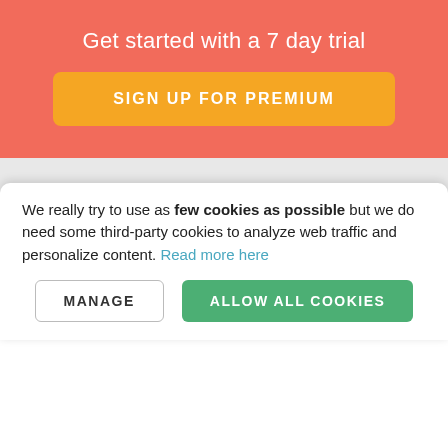Get started with a 7 day trial
SIGN UP FOR PREMIUM
FAQ / Questions
Premium Subscription
Bundle Maker
Cookie policy
FOR SHOPS
We really try to use as few cookies as possible but we do need some third-party cookies to analyze web traffic and personalize content. Read more here
MANAGE
ALLOW ALL COOKIES